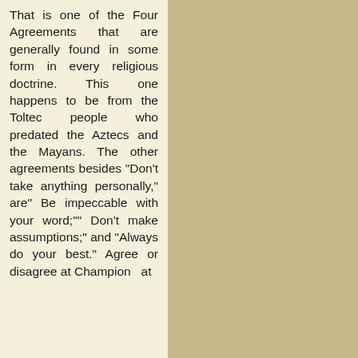That is one of the Four Agreements that are generally found in some form in every religious doctrine. This one happens to be from the Toltec people who predated the Aztecs and the Mayans. The other agreements besides "Don't take anything personally," are" Be impeccable with your word;"" Don't make assumptions;" and "Always do your best." Agree or disagree at Champion at